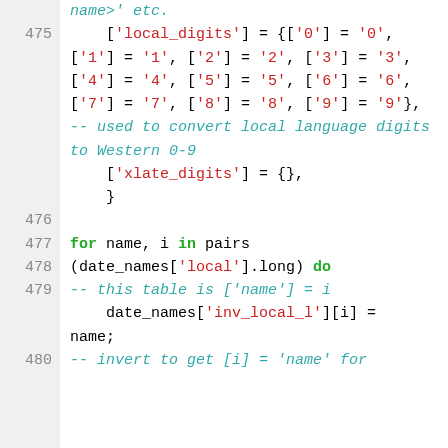Code listing showing lines 475-480 of a Lua/programming source file with local_digits table, xlate_digits, and date_names pairs loop.